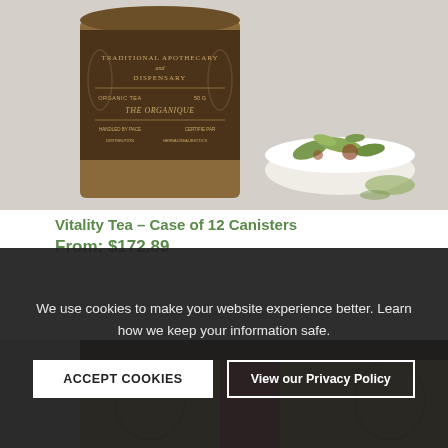[Figure (photo): Brown kraft paper tea canister labeled 'Traditional Apothecary and Dispensary, Organic Tea, The Organique, 50g' next to a white bowl of loose leaf herbal tea, on light grey background]
Vitality Tea – Case of 12 Canisters
From: $172.89
Select options
[Figure (photo): Close-up of a tea canister lid with botanical illustrations, pink label band, dark background]
We use cookies to make your website experience better. Learn how we keep your information safe.
ACCEPT COOKIES
View our Privacy Policy